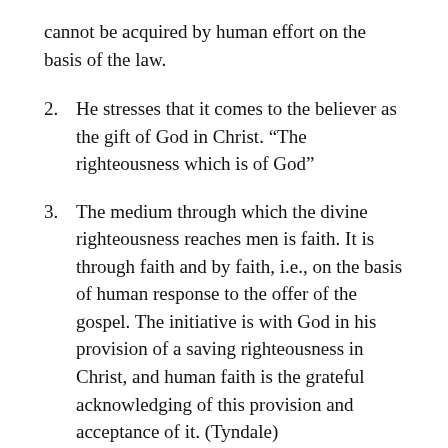cannot be acquired by human effort on the basis of the law.
2.    He stresses that it comes to the believer as the gift of God in Christ. “The righteousness which is of God”
3.    The medium through which the divine righteousness reaches men is faith. It is through faith and by faith, i.e., on the basis of human response to the offer of the gospel. The initiative is with God in his provision of a saving righteousness in Christ, and human faith is the grateful acknowledging of this provision and acceptance of it. (Tyndale)